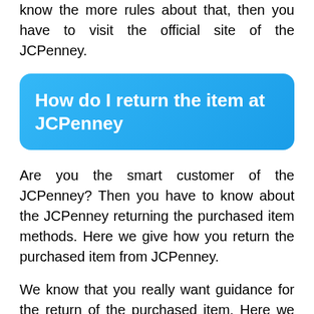know the more rules about that, then you have to visit the official site of the JCPenney.
How do I return the item at JCPenney
Are you the smart customer of the JCPenney? Then you have to know about the JCPenney returning the purchased item methods. Here we give how you return the purchased item from JCPenney.
We know that you really want guidance for the return of the purchased item. Here we give you the information about how to return the purchased item in the JCPenney. JCPenney is accepted all defective or